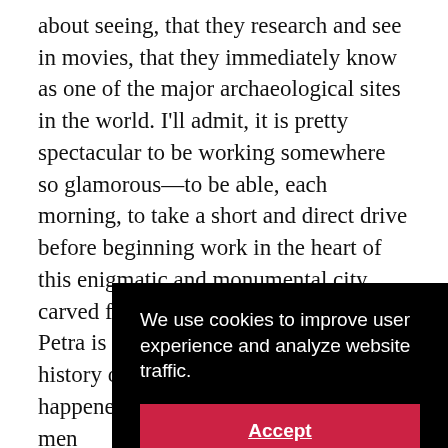about seeing, that they research and see in movies, that they immediately know as one of the major archaeological sites in the world. I'll admit, it is pretty spectacular to be working somewhere so glamorous—to be able, each morning, to take a short and direct drive before beginning work in the heart of this enigmatic and monumental city carved from stone. But the fame of Petra is intertwined with the long history of excavations that have happened there. This is what I'm inter[…] men[…] This […] gran[…] dig […] oppo[…]
We use cookies to improve user experience and analyze website traffic.
Accept